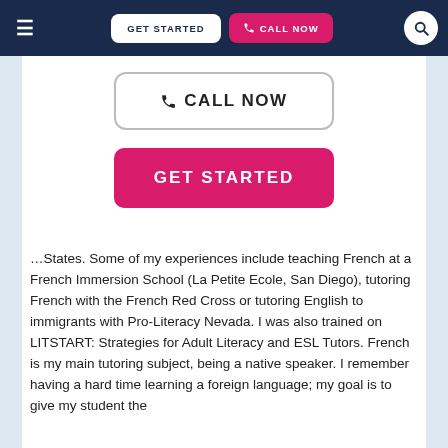GET STARTED   CALL NOW
[Figure (screenshot): Call Now outlined button with phone icon]
[Figure (screenshot): Get Started filled pink/red button]
…States. Some of my experiences include teaching French at a French Immersion School (La Petite Ecole, San Diego), tutoring French with the French Red Cross or tutoring English to immigrants with Pro-Literacy Nevada. I was also trained on LITSTART: Strategies for Adult Literacy and ESL Tutors. French is my main tutoring subject, being a native speaker. I remember having a hard time learning a foreign language; my goal is to give my student the